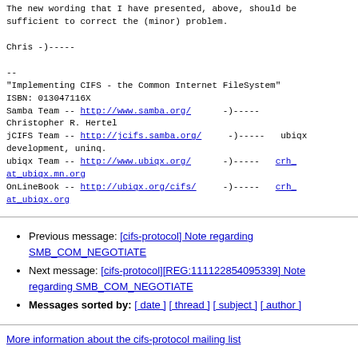The new wording that I have presented, above, should be sufficient to correct the (minor) problem.

Chris -)-----

--
"Implementing CIFS - the Common Internet FileSystem"
ISBN: 013047116X
Samba Team -- http://www.samba.org/      -)-----
Christopher R. Hertel
jCIFS Team -- http://jcifs.samba.org/     -)-----   ubiqx development, uninq.
ubiqx Team -- http://www.ubiqx.org/      -)-----   crh_at_ubiqx.mn.org
OnLineBook -- http://ubiqx.org/cifs/      -)-----   crh_at_ubiqx.org
Previous message: [cifs-protocol] Note regarding SMB_COM_NEGOTIATE
Next message: [cifs-protocol][REG:111122854095339] Note regarding SMB_COM_NEGOTIATE
Messages sorted by: [ date ] [ thread ] [ subject ] [ author ]
More information about the cifs-protocol mailing list